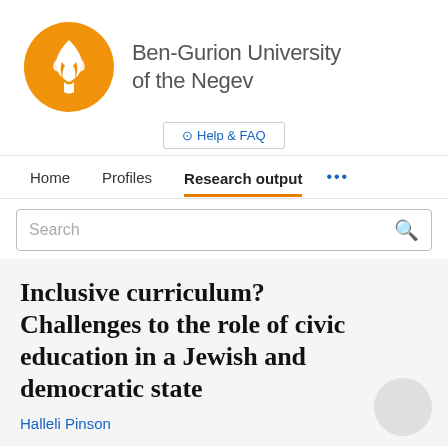[Figure (logo): Ben-Gurion University of the Negev logo: orange circle with white flame/torch symbol]
Ben-Gurion University of the Negev
⊕ Help & FAQ
Home   Profiles   Research output   ...
Search
Inclusive curriculum? Challenges to the role of civic education in a Jewish and democratic state
Halleli Pinson